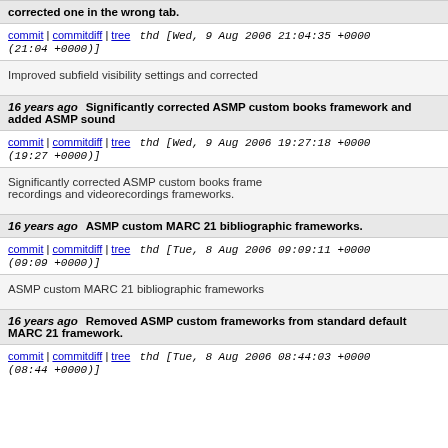corrected one in the wrong tab.
commit | commitdiff | tree   thd [Wed, 9 Aug 2006 21:04:35 +0000 (21:04 +0000)]
Improved subfield visibility settings and corrected
16 years ago   Significantly corrected ASMP custom books framework and added ASMP sound
commit | commitdiff | tree   thd [Wed, 9 Aug 2006 19:27:18 +0000 (19:27 +0000)]
Significantly corrected ASMP custom books frame recordings and videorecordings frameworks.
16 years ago   ASMP custom MARC 21 bibliographic frameworks.
commit | commitdiff | tree   thd [Tue, 8 Aug 2006 09:09:11 +0000 (09:09 +0000)]
ASMP custom MARC 21 bibliographic frameworks
16 years ago   Removed ASMP custom frameworks from standard default MARC 21 framework.
commit | commitdiff | tree   thd [Tue, 8 Aug 2006 08:44:03 +0000 (08:44 +0000)]